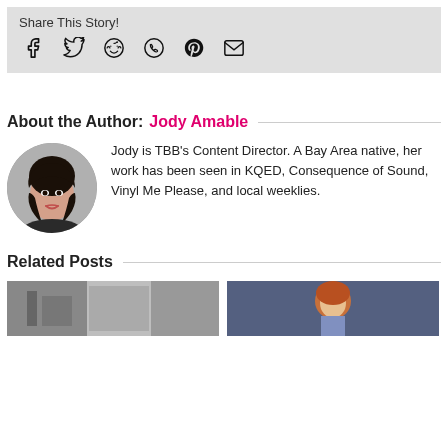Share This Story!
[Figure (infographic): Social share icons: Facebook, Twitter, Reddit, WhatsApp, Pinterest, Email]
About the Author: Jody Amable
[Figure (photo): Circular portrait photo of Jody Amable, a woman with dark hair]
Jody is TBB's Content Director. A Bay Area native, her work has been seen in KQED, Consequence of Sound, Vinyl Me Please, and local weeklies.
Related Posts
[Figure (photo): Black and white photo thumbnail for a related post]
[Figure (photo): Color photo thumbnail of a woman with red hair for a related post]